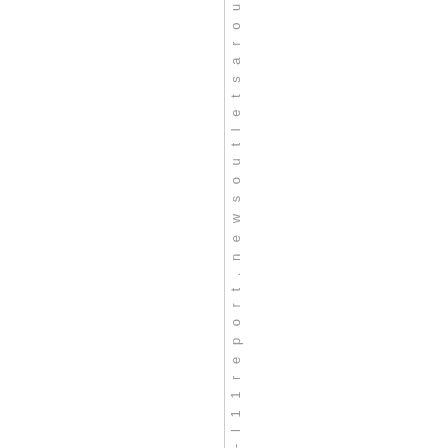- l 1 1 r e p o r t . n e w s o u t l e t s a r o u